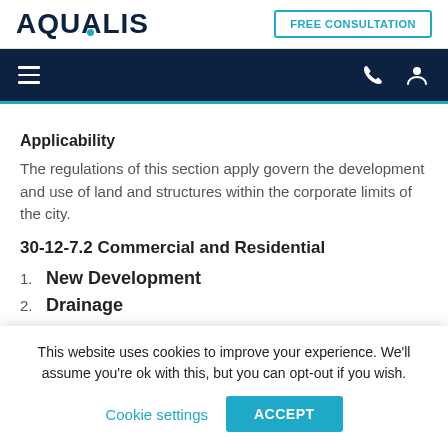AQUALIS | FREE CONSULTATION
Applicability
The regulations of this section apply govern the development and use of land and structures within the corporate limits of the city.
30-12-7.2 Commercial and Residential
1. New Development
2. Drainage
This website uses cookies to improve your experience. We'll assume you're ok with this, but you can opt-out if you wish.